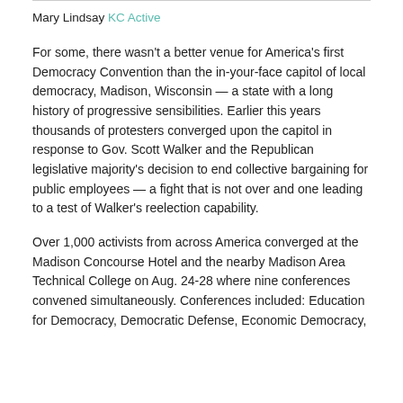Mary Lindsay KC Active
For some, there wasn't a better venue for America's first Democracy Convention than the in-your-face capitol of local democracy, Madison, Wisconsin — a state with a long history of progressive sensibilities. Earlier this years thousands of protesters converged upon the capitol in response to Gov. Scott Walker and the Republican legislative majority's decision to end collective bargaining for public employees — a fight that is not over and one leading to a test of Walker's reelection capability.
Over 1,000 activists from across America converged at the Madison Concourse Hotel and the nearby Madison Area Technical College on Aug. 24-28 where nine conferences convened simultaneously. Conferences included: Education for Democracy, Democratic Defense, Economic Democracy,